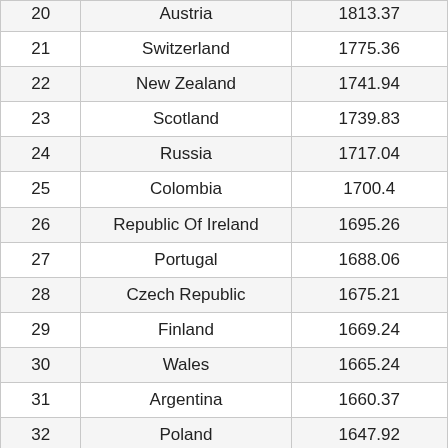| 20 | Austria | 1813.37 |
| 21 | Switzerland | 1775.36 |
| 22 | New Zealand | 1741.94 |
| 23 | Scotland | 1739.83 |
| 24 | Russia | 1717.04 |
| 25 | Colombia | 1700.4 |
| 26 | Republic Of Ireland | 1695.26 |
| 27 | Portugal | 1688.06 |
| 28 | Czech Republic | 1675.21 |
| 29 | Finland | 1669.24 |
| 30 | Wales | 1665.24 |
| 31 | Argentina | 1660.37 |
| 32 | Poland | 1647.92 |
| 33 | Vietnam | 1643.66 |
| 34 | Ukraine | 1643.46 |